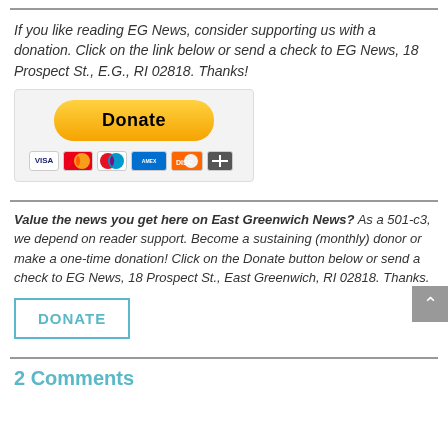If you like reading EG News, consider supporting us with a donation. Click on the link below or send a check to EG News, 18 Prospect St., E.G., RI 02818. Thanks!
[Figure (other): PayPal Donate button with credit card icons (Visa, Mastercard, Maestro, American Express, Discover, and one more)]
Value the news you get here on East Greenwich News? As a 501-c3, we depend on reader support. Become a sustaining (monthly) donor or make a one-time donation! Click on the Donate button below or send a check to EG News, 18 Prospect St., East Greenwich, RI 02818. Thanks.
DONATE
2 Comments